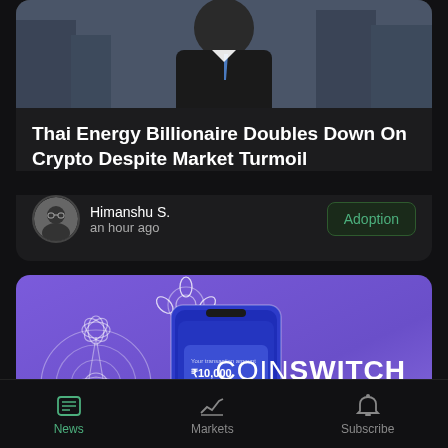[Figure (photo): Photo of a man in a dark suit and tie, upper body visible, city background]
Thai Energy Billionaire Doubles Down On Crypto Despite Market Turmoil
Himanshu S.
an hour ago
Adoption
[Figure (illustration): CoinSwitch Kuber advertisement banner with purple background, decorative mandala patterns, a smartphone showing ₹10,000, and CoinSwitch Kuber branding text]
News | Markets | Subscribe